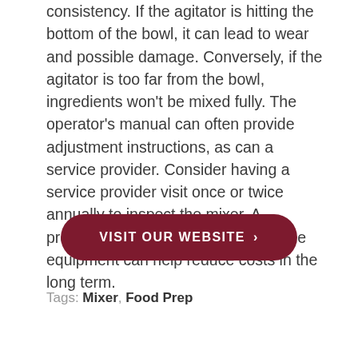consistency. If the agitator is hitting the bottom of the bowl, it can lead to wear and possible damage. Conversely, if the agitator is too far from the bowl, ingredients won't be mixed fully. The operator's manual can often provide adjustment instructions, as can a service provider. Consider having a service provider visit once or twice annually to inspect the mixer. A proactive approach to maintaining the equipment can help reduce costs in the long term.
[Figure (other): Dark red rounded rectangle button with white uppercase text 'VISIT OUR WEBSITE >' centered on the page]
Tags: Mixer, Food Prep